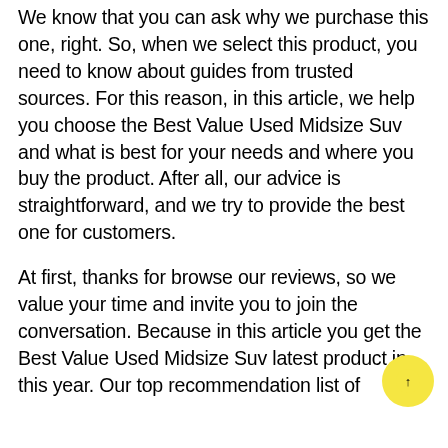We know that you can ask why we purchase this one, right. So, when we select this product, you need to know about guides from trusted sources. For this reason, in this article, we help you choose the Best Value Used Midsize Suv and what is best for your needs and where you buy the product. After all, our advice is straightforward, and we try to provide the best one for customers.
At first, thanks for browse our reviews, so we value your time and invite you to join the conversation. Because in this article you get the Best Value Used Midsize Suv latest product in this year. Our top recommendation list of